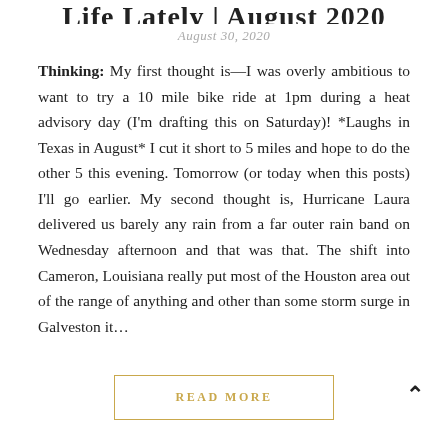Life Lately | August 2020
August 30, 2020
Thinking: My first thought is—I was overly ambitious to want to try a 10 mile bike ride at 1pm during a heat advisory day (I'm drafting this on Saturday)! *Laughs in Texas in August* I cut it short to 5 miles and hope to do the other 5 this evening. Tomorrow (or today when this posts) I'll go earlier. My second thought is, Hurricane Laura delivered us barely any rain from a far outer rain band on Wednesday afternoon and that was that. The shift into Cameron, Louisiana really put most of the Houston area out of the range of anything and other than some storm surge in Galveston it...
READ MORE